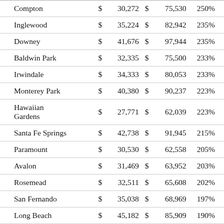| City | $ | Amount1 | $ | Amount2 | Pct |
| --- | --- | --- | --- | --- | --- |
| Compton | $ | 30,272 | $ | 75,530 | 250% |
| Inglewood | $ | 35,224 | $ | 82,942 | 235% |
| Downey | $ | 41,676 | $ | 97,944 | 235% |
| Baldwin Park | $ | 32,335 | $ | 75,500 | 233% |
| Irwindale | $ | 34,333 | $ | 80,053 | 233% |
| Monterey Park | $ | 40,380 | $ | 90,237 | 223% |
| Hawaiian Gardens | $ | 27,771 | $ | 62,039 | 223% |
| Santa Fe Springs | $ | 42,738 | $ | 91,945 | 215% |
| Paramount | $ | 30,530 | $ | 62,558 | 205% |
| Avalon | $ | 31,469 | $ | 63,952 | 203% |
| Rosemead | $ | 32,511 | $ | 65,608 | 202% |
| San Fernando | $ | 35,038 | $ | 68,969 | 197% |
| Long Beach | $ | 45,182 | $ | 85,909 | 190% |
| Alhambra | $ | 42,334 | $ | 79,388 | 188% |